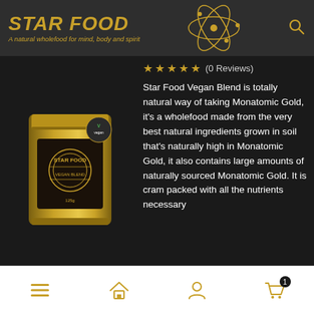STAR FOOD — A natural wholefood for mind, body and spirit
[Figure (photo): Star Food Vegan Blend product pouch — gold metallic standup pouch with black label and a green vegan badge on the top right corner]
★★★★★ (0 Reviews)
Star Food Vegan Blend is totally natural way of taking Monatomic Gold, it's a wholefood made from the very best natural ingredients grown in soil that's naturally high in Monatomic Gold, it also contains large amounts of naturally sourced Monatomic Gold. It is cram packed with all the nutrients necessary
Navigation bar with menu, home, account, and cart (1 item) icons